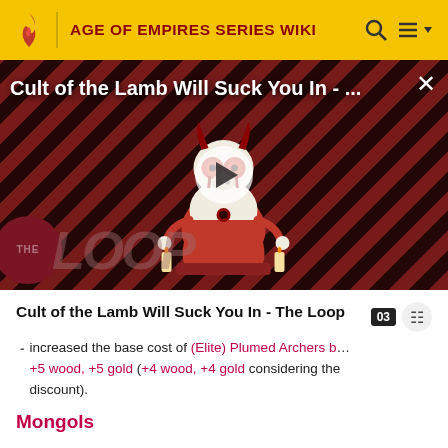AGE OF EMPIRES SERIES WIKI
[Figure (screenshot): Video thumbnail showing 'Cult of the Lamb Will Suck You In - The Loop' with a stylized lamb character on a red diagonal stripe background and a play button overlay. THE LOOP logo visible in bottom left.]
Cult of the Lamb Will Suck You In - The Loop
increased the base cost of (Elite) Plumed Archers b… +5 wood, +5 gold (+4 wood, +4 gold considering the discount).
Mongols